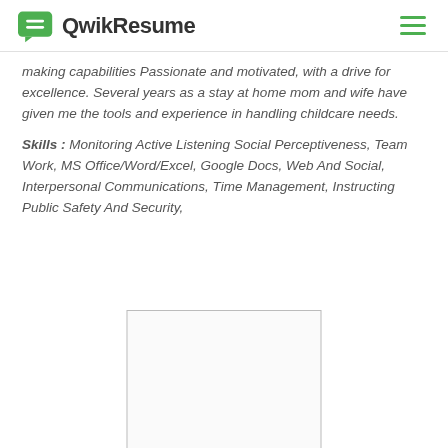QwikResume
making capabilities Passionate and motivated, with a drive for excellence. Several years as a stay at home mom and wife have given me the tools and experience in handling childcare needs.
Skills : Monitoring Active Listening Social Perceptiveness, Team Work, MS Office/Word/Excel, Google Docs, Web And Social, Interpersonal Communications, Time Management, Instructing Public Safety And Security,
[Figure (other): Blank resume page preview thumbnail]